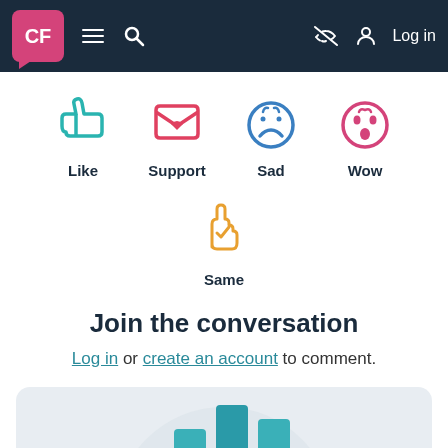CF | Navigation bar with menu, search, and Log in
[Figure (illustration): Five reaction icons: Like (teal thumbs up), Support (red heart in envelope), Sad (blue sad face), Wow (pink shocked face), Same (orange raised hand with check)]
Join the conversation
Log in or create an account to comment.
[Figure (bar-chart): Partial bar chart visible at bottom of page, teal colored bars on light gray circular background]